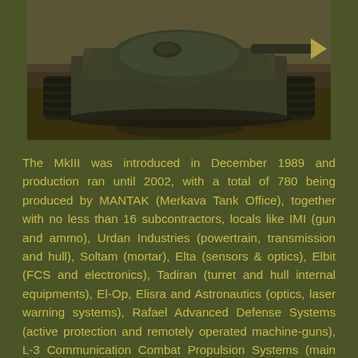[Figure (photo): Aerial/top-angled view of a Merkava MkIII tank on dirt/desert terrain, showing the tank tracks, hull, and turret from above and front]
The MkIII was introduced in December 1989 and production ran until 2002, with a total of 780 being produced by MANTAK (Merkava Tank Office), together with no less than 16 subcontractors, locals like IMI (gun and ammo), Urdan Industries (powertrain, transmission and hull), Soltam (mortar), Elta (sensors & optics), Elbit (FCS and electronics), Tadiran (turret and hull internal equipments), El-Op, Elisra and Astronautics (optics, laser warning systems), Rafael Advanced Defense Systems (active protection and remotely operated machine-guns), L-3 Communication Combat Propulsion Systems (main engine and transmission), Urdan (mine-roller/dozer kits) or foreign like Motorola, DuPont, FN Herstal, or Rental Industries in other areas.